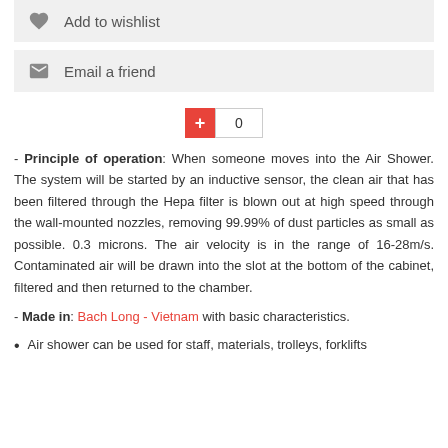Add to wishlist
Email a friend
0
- Principle of operation: When someone moves into the Air Shower. The system will be started by an inductive sensor, the clean air that has been filtered through the Hepa filter is blown out at high speed through the wall-mounted nozzles, removing 99.99% of dust particles as small as possible. 0.3 microns. The air velocity is in the range of 16-28m/s. Contaminated air will be drawn into the slot at the bottom of the cabinet, filtered and then returned to the chamber.
- Made in: Bach Long - Vietnam with basic characteristics.
Air shower can be used for staff, materials, trolleys, forklifts